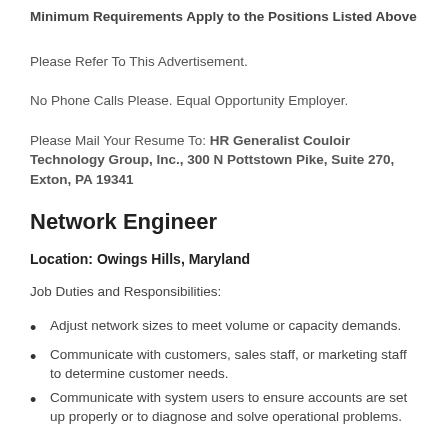Minimum Requirements Apply to the Positions Listed Above
Please Refer To This Advertisement.
No Phone Calls Please. Equal Opportunity Employer.
Please Mail Your Resume To: HR Generalist Couloir Technology Group, Inc., 300 N Pottstown Pike, Suite 270, Exton, PA 19341
Network Engineer
Location: Owings Hills, Maryland
Job Duties and Responsibilities:
Adjust network sizes to meet volume or capacity demands.
Communicate with customers, sales staff, or marketing staff to determine customer needs.
Communicate with system users to ensure accounts are set up properly or to diagnose and solve operational problems.